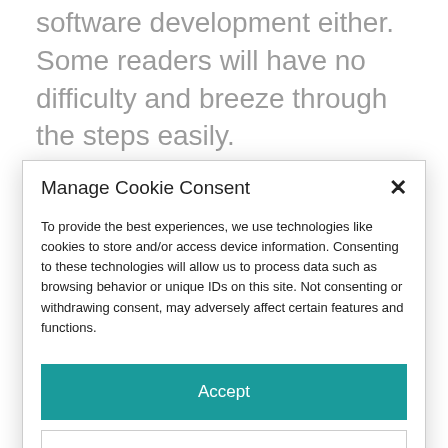software development either. Some readers will have no difficulty and breeze through the steps easily.
Others may struggle over the most basic operation. Because people's experiences, backgrounds, and intuitions differ, it may
Manage Cookie Consent
To provide the best experiences, we use technologies like cookies to store and/or access device information. Consenting to these technologies will allow us to process data such as browsing behavior or unique IDs on this site. Not consenting or withdrawing consent, may adversely affect certain features and functions.
Accept
Deny
Cookie Policy   Privacy Policy